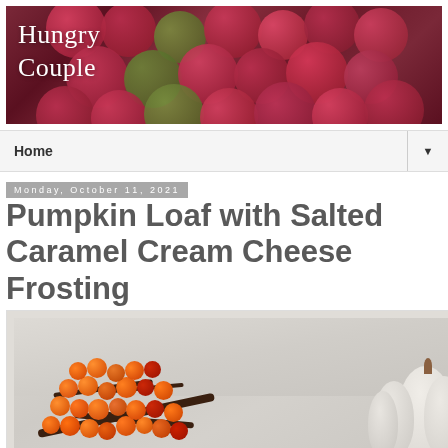[Figure (photo): Header banner photo of red and green apples in a crate with blog title 'Hungry Couple' overlaid in white serif text]
Hungry Couple
Home ▼
Monday, October 11, 2021
Pumpkin Loaf with Salted Caramel Cream Cheese Frosting
[Figure (photo): Autumn food photography showing orange berry branches and a white pumpkin on a light marble surface]